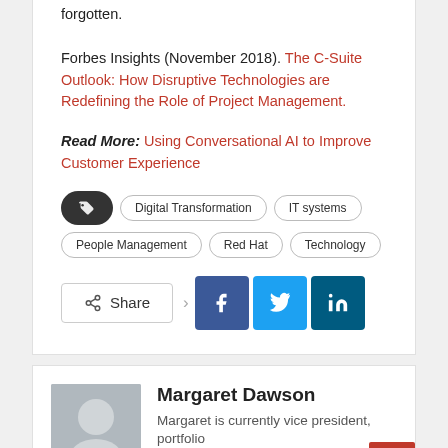forgotten.
Forbes Insights (November 2018). The C-Suite Outlook: How Disruptive Technologies are Redefining the Role of Project Management.
Read More: Using Conversational AI to Improve Customer Experience
Digital Transformation | IT systems | People Management | Red Hat | Technology
[Figure (other): Share button with Facebook, Twitter, and LinkedIn social share icons]
[Figure (photo): Author photo placeholder for Margaret Dawson]
Margaret Dawson
Margaret is currently vice president, portfolio